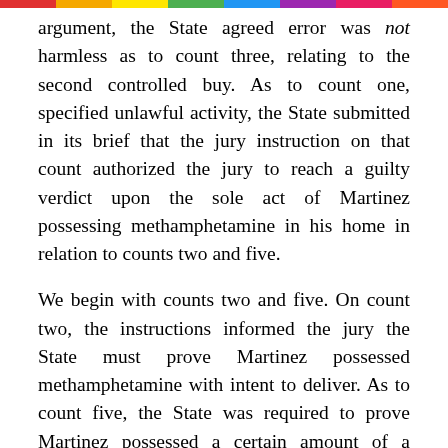argument, the State agreed error was not harmless as to count three, relating to the second controlled buy. As to count one, specified unlawful activity, the State submitted in its brief that the jury instruction on that count authorized the jury to reach a guilty verdict upon the sole act of Martinez possessing methamphetamine in his home in relation to counts two and five.
We begin with counts two and five. On count two, the instructions informed the jury the State must prove Martinez possessed methamphetamine with intent to deliver. As to count five, the State was required to prove Martinez possessed a certain amount of a taxable substance, including methamphetamine, and failed to permanently affix a tax-stamp to it. We first "ask what evidence the fact finder actually considered to reach its verdict." See id. at 527.
True, the search warrant was executed at